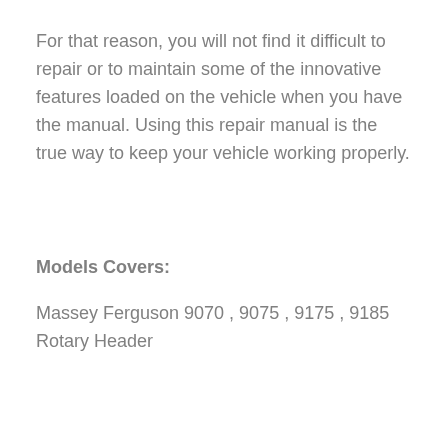For that reason, you will not find it difficult to repair or to maintain some of the innovative features loaded on the vehicle when you have the manual. Using this repair manual is the true way to keep your vehicle working properly.
Models Covers:
Massey Ferguson 9070 , 9075 , 9175 , 9185 Rotary Header